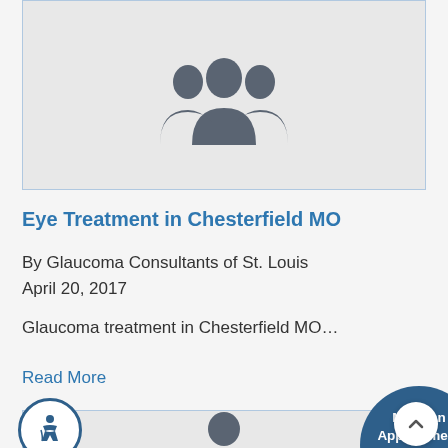[Figure (illustration): Grey placeholder image with silhouettes of three people (group icon) on a light grey background, framed with a light blue border]
Eye Treatment in Chesterfield MO
By Glaucoma Consultants of St. Louis
April 20, 2017
Glaucoma treatment in Chesterfield MO…
Read More
[Figure (illustration): Bottom card area with a person silhouette icon, partially visible. Overlaid with a dark blue circular button labeled 'Make an Appointment' with a calendar icon. Accessibility icon in bottom-left corner. Scroll-to-top arrow button in bottom-right corner.]